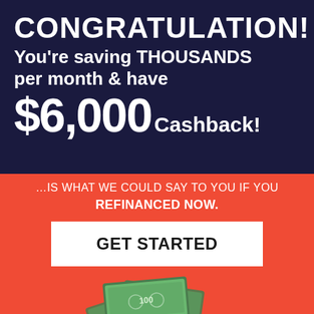CONGRATULATION!
You're saving THOUSANDS per month & have $6,000 Cashback!
…IS WHAT WE COULD SAY TO YOU IF YOU REFINANCED NOW.
GET STARTED
[Figure (photo): Pile of Australian dollar banknotes at the bottom of the image]